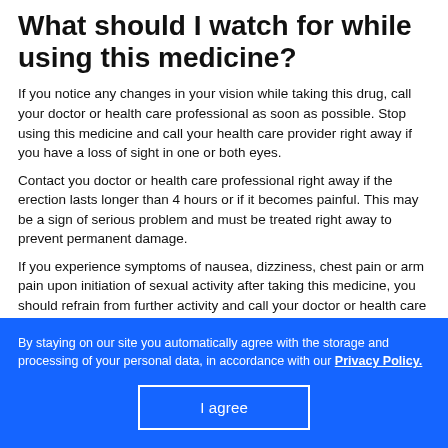What should I watch for while using this medicine?
If you notice any changes in your vision while taking this drug, call your doctor or health care professional as soon as possible. Stop using this medicine and call your health care provider right away if you have a loss of sight in one or both eyes.
Contact you doctor or health care professional right away if the erection lasts longer than 4 hours or if it becomes painful. This may be a sign of serious problem and must be treated right away to prevent permanent damage.
If you experience symptoms of nausea, dizziness, chest pain or arm pain upon initiation of sexual activity after taking this medicine, you should refrain from further activity and call your doctor or health care professional as soon as possible.
Do not think about to use or take further...
By staying on our site you automatically agree with the storage and processing of your personal data, in accordance with our Privacy Policy.
I agree